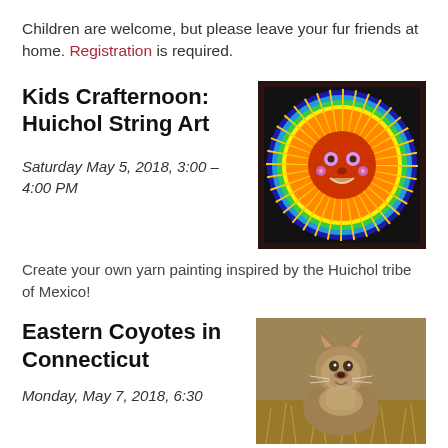Children are welcome, but please leave your fur friends at home. Registration is required.
Kids Crafternoon: Huichol String Art
Saturday May 5, 2018, 3:00 – 4:00 PM
[Figure (photo): Colorful Huichol yarn art depicting a stylized sun face with rainbow-colored rays on a black background, framed in dark wood.]
Create your own yarn painting inspired by the Huichol tribe of Mexico!
Eastern Coyotes in Connecticut
Monday, May 7, 2018, 6:30
[Figure (photo): A coyote standing in a field of dry grass, looking toward the camera, photographed in autumn/winter light.]